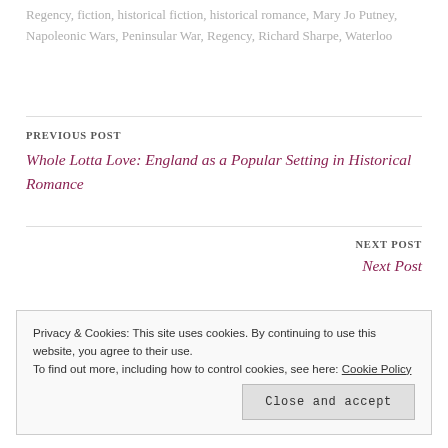Regency, fiction, historical fiction, historical romance, Mary Jo Putney, Napoleonic Wars, Peninsular War, Regency, Richard Sharpe, Waterloo
PREVIOUS POST
Whole Lotta Love: England as a Popular Setting in Historical Romance
NEXT POST
Next Post
Privacy & Cookies: This site uses cookies. By continuing to use this website, you agree to their use. To find out more, including how to control cookies, see here: Cookie Policy
Close and accept